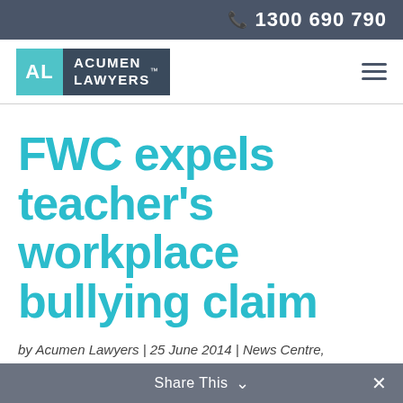1300 690 790
[Figure (logo): Acumen Lawyers logo with teal AL initials block and dark navy text block]
FWC expels teacher’s workplace bullying claim
by Acumen Lawyers | 25 June 2014 | News Centre, Workplace Bullying
Share This